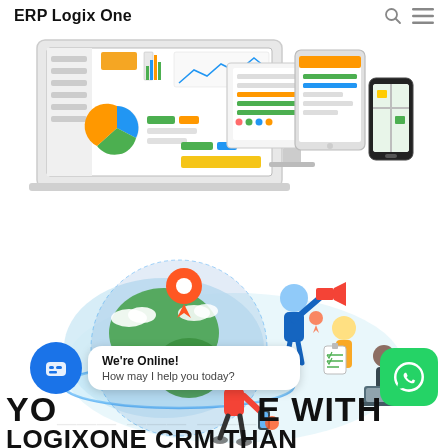ERP Logix One
[Figure (screenshot): Illustration of ERP software dashboard displayed on laptop, desktop monitor, tablet, and smartphone devices]
[Figure (illustration): Globe with location pin and people working around it, representing global CRM/ERP reach]
[Figure (other): WhatsApp contact button (green rounded square with phone/chat icon)]
We're Online!
How may I help you today?
YO___ ___ ___ ___E WITH LOGIXONE CRM THAN